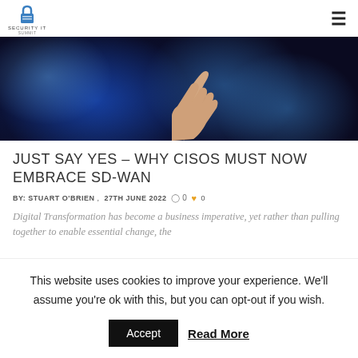SECURITY IT SUMMIT
[Figure (photo): A hand reaching upward against a blue bokeh background]
JUST SAY YES – WHY CISOS MUST NOW EMBRACE SD-WAN
BY: STUART O'BRIEN , 27TH JUNE 2022  0  0
Digital Transformation has become a business imperative, yet rather than pulling together to enable essential change, the
This website uses cookies to improve your experience. We'll assume you're ok with this, but you can opt-out if you wish.
Accept  Read More